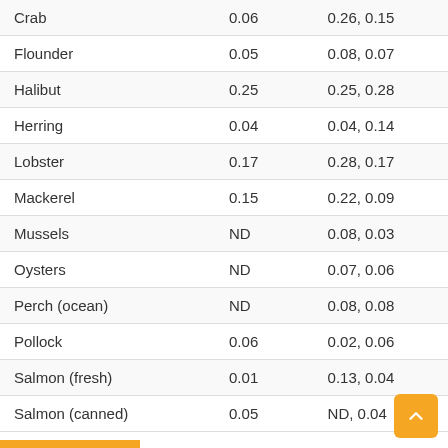| Crab | 0.06 | 0.26, 0.15 |
| Flounder | 0.05 | 0.08, 0.07 |
| Halibut | 0.25 | 0.25, 0.28 |
| Herring | 0.04 | 0.04, 0.14 |
| Lobster | 0.17 | 0.28, 0.17 |
| Mackerel | 0.15 | 0.22, 0.09 |
| Mussels | ND | 0.08, 0.03 |
| Oysters | ND | 0.07, 0.06 |
| Perch (ocean) | ND | 0.08, 0.08 |
| Pollock | 0.06 | 0.02, 0.06 |
| Salmon (fresh) | 0.01 | 0.13, 0.04 |
| Salmon (canned) | 0.05 | ND, 0.04 |